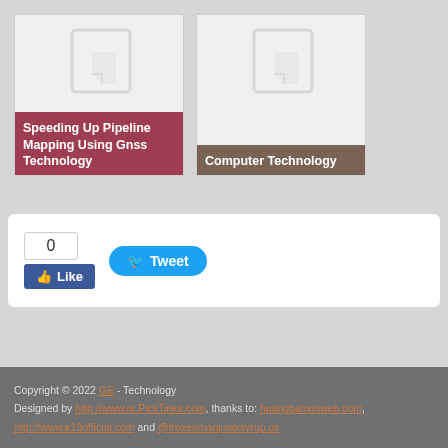[Figure (screenshot): Card thumbnail for 'Speeding Up Pipeline Mapping Using Gnss Technology' with notebook icon and rose/pink label]
[Figure (screenshot): Card thumbnail for 'Computer Technology' with notebook icon and brown label]
[Figure (screenshot): Social sharing widget with Facebook Like button (count: 0) and Twitter Tweet button]
Copyright © 2022 GE - Technology
Designed by http://www.nt.PickTinks.com, thanks to: huangbaoxinweb.com, http://www.k13official.com and @frozenmanjulaksyrup.us